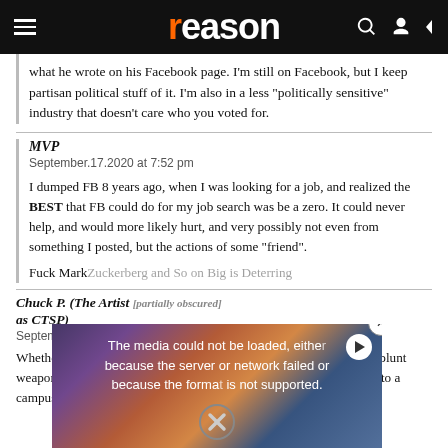reason
what he wrote on his Facebook page. I'm still on Facebook, but I keep partisan political stuff of it. I'm also in a less "politically sensitive" industry that doesn't care who you voted for.
MVP
September.17.2020 at 7:52 pm

I dumped FB 8 years ago, when I was looking for a job, and realized the BEST that FB could do for my job search was be a zero. It could never help, and would more likely hurt, and very possibly not even from something I posted, but the actions of some "friend".

Fuck Mark...
Chuck P. (The Artist formerly known as CTSP)
September.17.2020

Whether talking abo... will always punish... powerful tool at the... blunt weapon of pun... actually sick. It doesn't matter if you never come onto a campus. Zero
[Figure (screenshot): Video player overlay showing error message: 'The media could not be loaded, either because the server or network failed or because the format is not supported.' with a close button (X) and play button. Bottom bar shows news ticker: 'SINGAPORE MAKES MASKS MANDATORY ONLY FOR PUBLIC TRANSPORT AND HOSPITALS' with 'THE VIRUS' red label and 'Emma O'Brien BLOOMBERG NEWS' lower third.]